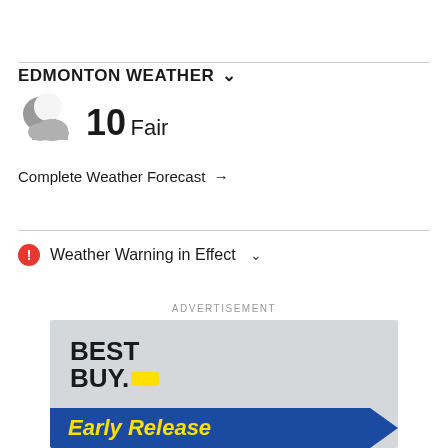EDMONTON WEATHER
[Figure (illustration): Night weather icon: crescent moon with cloud overlay]
10 Fair
Complete Weather Forecast →
⚠ Weather Warning in Effect ∨
ADVERTISEMENT
[Figure (illustration): Best Buy advertisement banner with 'Early Release' text on blue diagonal background]